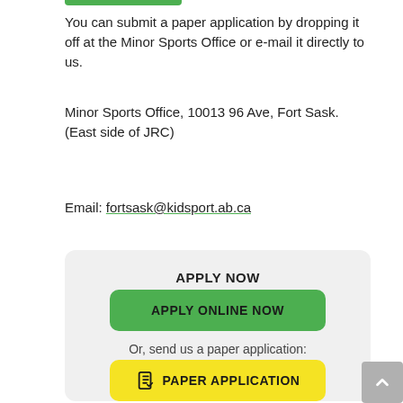You can submit a paper application by dropping it off at the Minor Sports Office or e-mail it directly to us.
Minor Sports Office, 10013 96 Ave, Fort Sask. (East side of JRC)
Email: fortsask@kidsport.ab.ca
APPLY NOW
APPLY ONLINE NOW
Or, send us a paper application:
PAPER APPLICATION